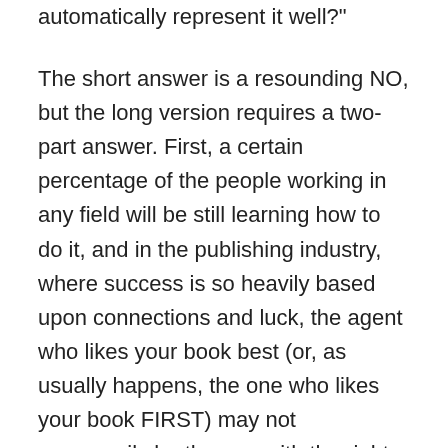automatically represent it well?"

The short answer is a resounding NO, but the long version requires a two-part answer. First, a certain percentage of the people working in any field will be still learning how to do it, and in the publishing industry, where success is so heavily based upon connections and luck, the agent who likes your book best (or, as usually happens, the one who likes your book FIRST) may not necessarily be the one with the right connections.

Thus, that story writers so